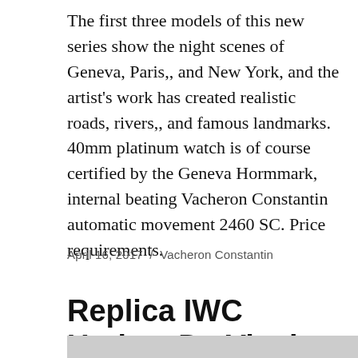The first three models of this new series show the night scenes of Geneva, Paris,, and New York, and the artist's work has created realistic roads, rivers,, and famous landmarks. 40mm platinum watch is of course certified by the Geneva Hormmark, internal beating Vacheron Constantin automatic movement 2460 SC. Price requirements.
April 16, 2017  /  Vacheron Constantin
Replica IWC Update Da Vinci
[Figure (photo): Partial view of a watch image at the bottom of the page]